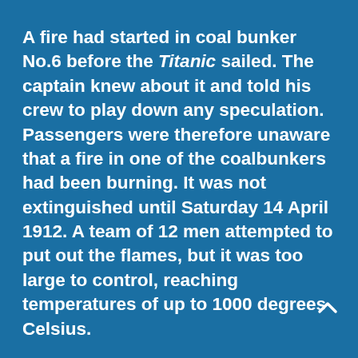A fire had started in coal bunker No.6 before the Titanic sailed. The captain knew about it and told his crew to play down any speculation. Passengers were therefore unaware that a fire in one of the coalbunkers had been burning. It was not extinguished until Saturday 14 April 1912. A team of 12 men attempted to put out the flames, but it was too large to control, reaching temperatures of up to 1000 degrees Celsius.
Coalbunker fires were common because coal dust, which is very